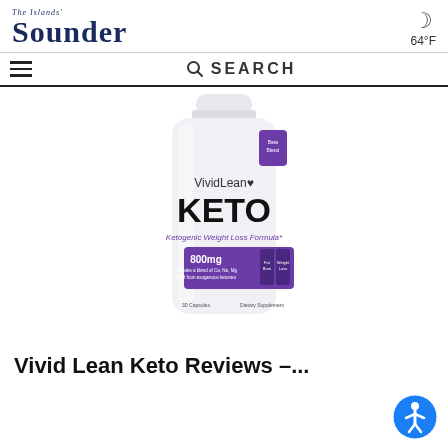The Islands' Sounder | 64°F
[Figure (screenshot): Navigation bar with hamburger menu icon and SEARCH bar]
[Figure (photo): VividLean KETO supplement bottle - Ketogenic Weight Loss Formula, 800mg, 60 Capsules, Dietary Supplement]
Vivid Lean Keto Reviews –...
[Figure (illustration): Accessibility button icon - blue circle with white person figure]